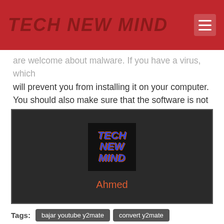TECH NEW MIND
are welcome about malware. If you have a virus, which will prevent you from installing it on your computer. You should also make sure that the software is not malicious.
[Figure (logo): Tech New Mind logo on dark background with author name 'Ahmed' below]
Tags: bajar youtube y2mate  convert y2mate  convertidor de youtube a mp3 y2mate